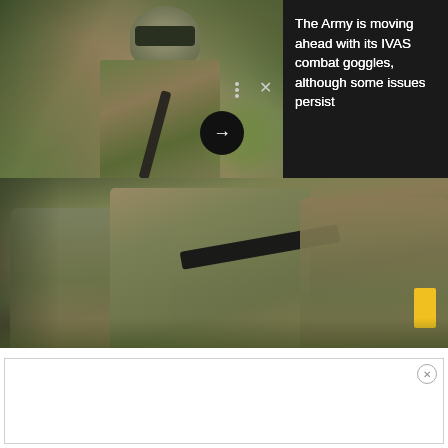[Figure (photo): Split image: top portion shows a soldier in camouflage uniform wearing IVAS combat goggles/headset, holding a rifle, standing in a wooded area. Bottom portion shows two soldiers in camouflage with rifles in a woodland setting. UI overlay elements include dots menu, X close button, and a circular arrow button.]
The Army is moving ahead with its IVAS combat goggles, although some issues persist
[Figure (other): Advertisement placeholder box with close (X) button in top right corner]